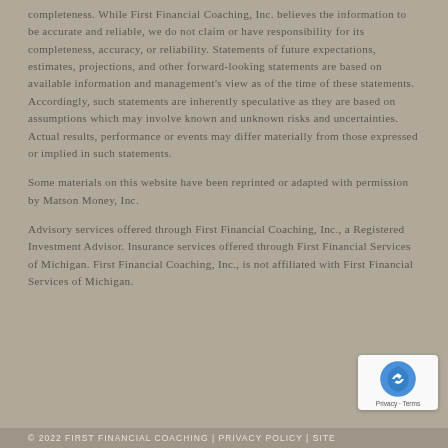completeness. While First Financial Coaching, Inc. believes the information to be accurate and reliable, we do not claim or have responsibility for its completeness, accuracy, or reliability. Statements of future expectations, estimates, projections, and other forward-looking statements are based on available information and management's view as of the time of these statements. Accordingly, such statements are inherently speculative as they are based on assumptions which may involve known and unknown risks and uncertainties. Actual results, performance or events may differ materially from those expressed or implied in such statements.
Some materials on this website have been reprinted or adapted with permission by Matson Money, Inc.
Advisory services offered through First Financial Coaching, Inc., a Registered Investment Advisor. Insurance services offered through First Financial Services of Michigan. First Financial Coaching, Inc., is not affiliated with First Financial Services of Michigan.
© 2022 FIRST FINANCIAL COACHING | PRIVACY POLICY | SITE